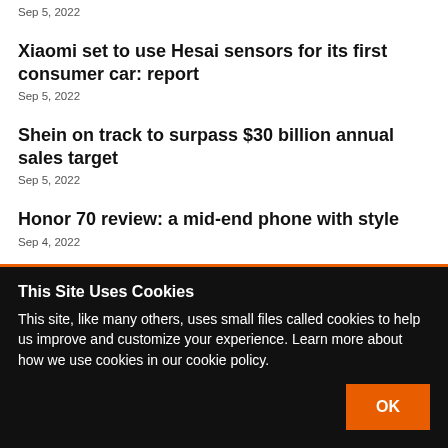Sep 5, 2022
Xiaomi set to use Hesai sensors for its first consumer car: report
Sep 5, 2022
Shein on track to surpass $30 billion annual sales target
Sep 5, 2022
Honor 70 review: a mid-end phone with style
Sep 4, 2022
This Site Uses Cookies
This site, like many others, uses small files called cookies to help us improve and customize your experience. Learn more about how we use cookies in our cookie policy.
OK